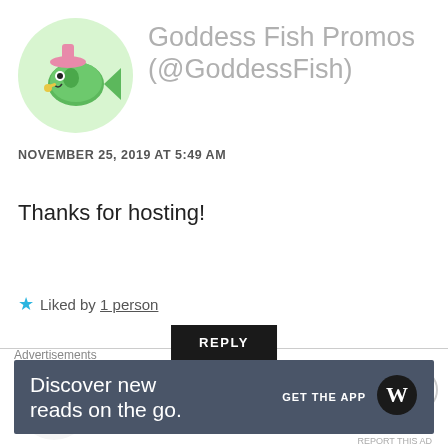[Figure (illustration): Circular avatar with light green background showing a cartoon fish character with pink hat and yellow accessories]
Goddess Fish Promos (@GoddessFish)
NOVEMBER 25, 2019 AT 5:49 AM
Thanks for hosting!
★ Liked by 1 person
REPLY
[Figure (logo): Partial view of next commenter avatar - black bird/arrow logo, and text 'viviana' in gray]
Advertisements
Discover new reads on the go.
GET THE APP
[Figure (logo): WordPress logo - circular W in dark circle]